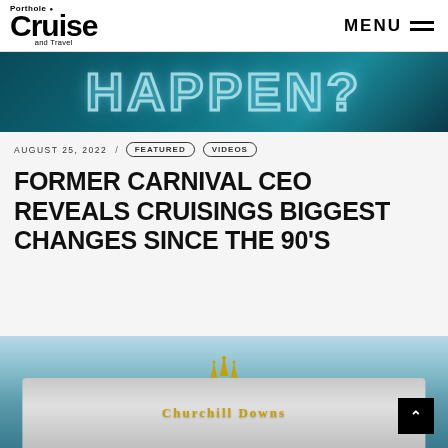Porthole Cruise and Travel | MENU
[Figure (screenshot): Teal/dark blue background with large glowing outlined text reading 'HAPPEN?' in a neon style]
AUGUST 25, 2022 / FEATURED VIDEOS
FORMER CARNIVAL CEO REVEALS CRUISINGS BIGGEST CHANGES SINCE THE 90'S
[Figure (photo): Photo of Churchill Downs entrance sign with golden spires against a blue sky]